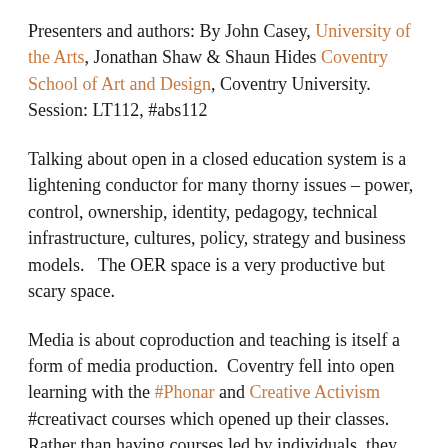Presenters and authors: By John Casey, University of the Arts, Jonathan Shaw & Shaun Hides Coventry School of Art and Design, Coventry University. Session: LT112, #abs112
Talking about open in a closed education system is a lightening conductor for many thorny issues – power, control, ownership, identity, pedagogy, technical infrastructure, cultures, policy, strategy and business models.   The OER space is a very productive but scary space.
Media is about coproduction and teaching is itself a form of media production.  Coventry fell into open learning with the #Phonar and Creative Activism #creativact courses which opened up their classes.  Rather than having courses led by individuals, they now have teams of people all thinking and operating in different ways. Professional partners have also shown